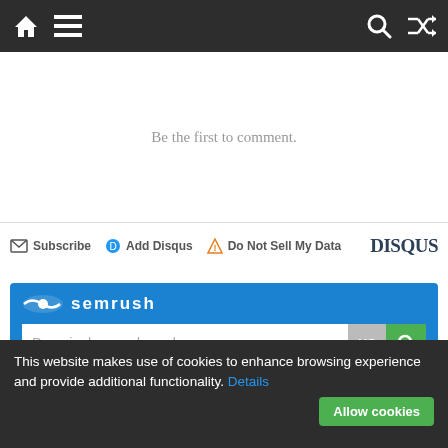Navigation bar with home, menu, search, and shuffle icons
Be the first to comment.
Subscribe  Add Disqus  Do Not Sell My Data  DISQUS
[Figure (screenshot): SEMrush widget with logo and search bar with placeholder 'Domain, keyword or url', US button, and green search button]
London CR
This website makes use of cookies to enhance browsing experience and provide additional functionality. Details Allow cookies